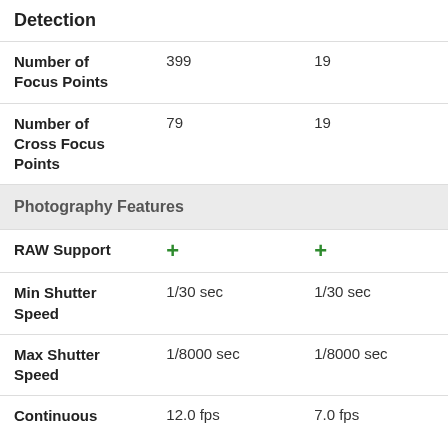Detection
| Feature | Value 1 | Value 2 |
| --- | --- | --- |
| Number of Focus Points | 399 | 19 |
| Number of Cross Focus Points | 79 | 19 |
| Photography Features |  |  |
| RAW Support | + | + |
| Min Shutter Speed | 1/30 sec | 1/30 sec |
| Max Shutter Speed | 1/8000 sec | 1/8000 sec |
| Continuous | 12.0 fps | 7.0 fps |